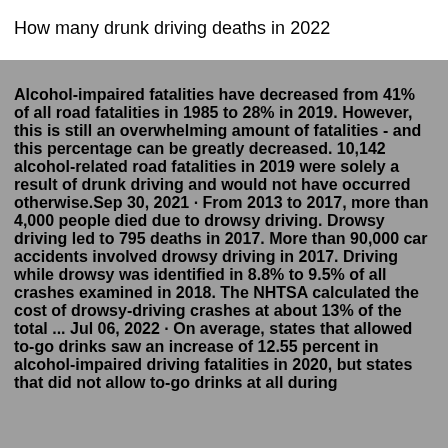How many drunk driving deaths in 2022
Alcohol-impaired fatalities have decreased from 41% of all road fatalities in 1985 to 28% in 2019. However, this is still an overwhelming amount of fatalities - and this percentage can be greatly decreased. 10,142 alcohol-related road fatalities in 2019 were solely a result of drunk driving and would not have occurred otherwise.Sep 30, 2021 · From 2013 to 2017, more than 4,000 people died due to drowsy driving. Drowsy driving led to 795 deaths in 2017. More than 90,000 car accidents involved drowsy driving in 2017. Driving while drowsy was identified in 8.8% to 9.5% of all crashes examined in 2018. The NHTSA calculated the cost of drowsy-driving crashes at about 13% of the total ... Jul 06, 2022 · On average, states that allowed to-go drinks saw an increase of 12.55 percent in alcohol-impaired driving fatalities in 2020, but states that did not allow to-go drinks at all during